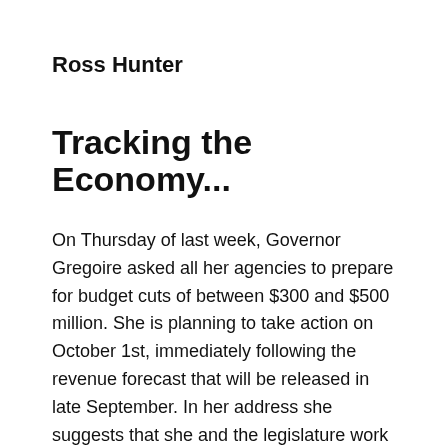Ross Hunter
Tracking the Economy...
On Thursday of last week, Governor Gregoire asked all her agencies to prepare for budget cuts of between $300 and $500 million. She is planning to take action on October 1st, immediately following the revenue forecast that will be released in late September. In her address she suggests that she and the legislature work together on a plan to make cuts of around $500 million in a supplemental